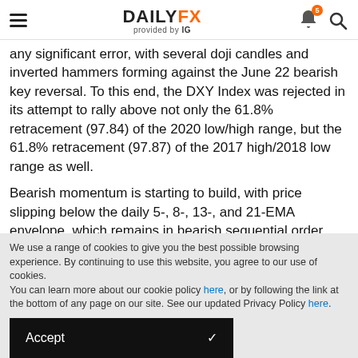DAILYFX provided by IG
any significant error, with several doji candles and inverted hammers forming against the June 22 bearish key reversal. To this end, the DXY Index was rejected in its attempt to rally above not only the 61.8% retracement (97.84) of the 2020 low/high range, but the 61.8% retracement (97.87) of the 2017 high/2018 low range as well.
Bearish momentum is starting to build, with price slipping below the daily 5-, 8-, 13-, and 21-EMA envelope, which remains in bearish sequential order. Daily MACD's ascent in
We use a range of cookies to give you the best possible browsing experience. By continuing to use this website, you agree to our use of cookies.
You can learn more about our cookie policy here, or by following the link at the bottom of any page on our site. See our updated Privacy Policy here.
Accept